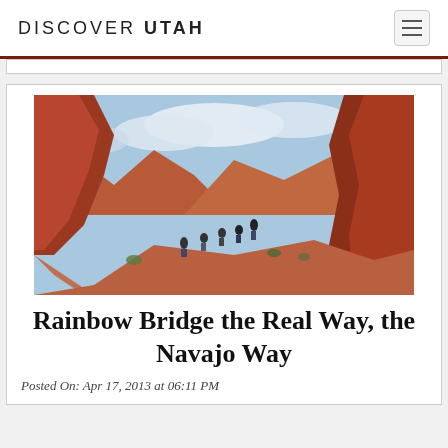DISCOVER UTAH
[Figure (photo): Hikers trekking through a red rock canyon landscape in Utah with blue sky and clouds above]
Rainbow Bridge the Real Way, the Navajo Way
Posted On: Apr 17, 2013 at 06:11 PM